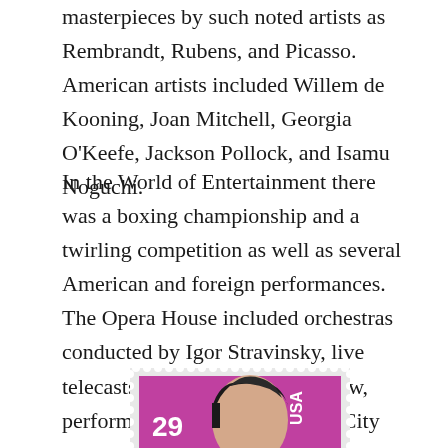masterpieces by such noted artists as Rembrandt, Rubens, and Picasso. American artists included Willem de Kooning, Joan Mitchell, Georgia O'Keefe, Jackson Pollock, and Isamu Noguchi.
In the World of Entertainment there was a boxing championship and a twirling competition as well as several American and foreign performances. The Opera House included orchestras conducted by Igor Stravinsky, live telecasts of The Ed Sullivan Show, performances by the New York City Ballet Company, and the Marine Corps Band.
[Figure (photo): A US postage stamp showing Elvis Presley with the denomination 29 cents and 'USA' text. The stamp has a purple/magenta background with a perforated edge border. Only the upper portion of the stamp is visible, showing Elvis's face and hair.]